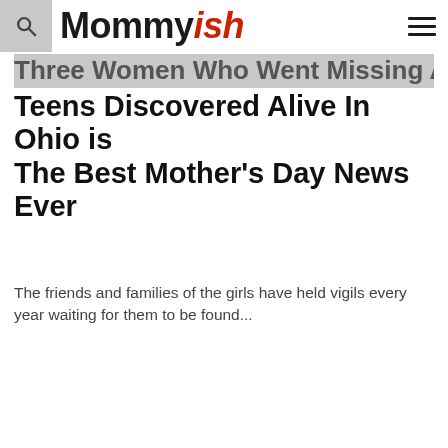Mommyish
Three Women Who Went Missing As Teens Discovered Alive In Ohio is The Best Mother's Day News Ever
The friends and families of the girls have held vigils every year waiting for them to be found...